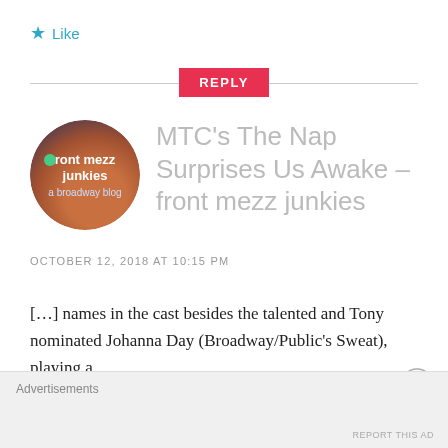★ Like
REPLY
[Figure (logo): Circular avatar logo for 'front mezz junkies – a broadway blog' with dark blue background and orange/brown bokeh elements, green dot accent]
MTC's The Nap Surprises Us Awake – front mezz junkies
OCTOBER 12, 2018 AT 10:15 PM
[…] names in the cast besides the talented and Tony nominated Johanna Day (Broadway/Public's Sweat), playing a
Advertisements
REPORT THIS AD